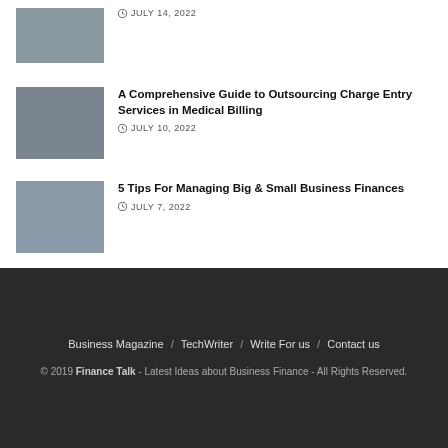JULY 14, 2022
A Comprehensive Guide to Outsourcing Charge Entry Services in Medical Billing – JULY 10, 2022
5 Tips For Managing Big & Small Business Finances – JULY 7, 2022
Business Magazine / TechWriter / Write For us / Contact us
© 2019 Finance Talk - Latest Ideas about Business Finance - All Rights Reserved.